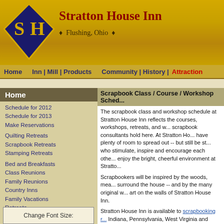Stratton House Inn • Flushing, Ohio •
Home | Inn | Mill | Products | Community | History | Attractions
Home
Schedule for 2012
Schedule for 2013
Make Reservations
Quilting Retreats
Scrapbook Retreats
Stamping Retreats
Bed and Breakfasts
Class Reunions
Family Reunions
Country Inns
Family Vacations
Retreats
Travel & Tourism
Vacation Rentals
Weddings | Receptions
Weekly Rentals
Birding | Bird Census
Other Links
Link to Us
Site Map
Change Font Size:
Scrapbook Class / Course / Workshop Schedule
The scrapbook class and workshop schedule at Stratton House Inn reflects the courses, workshops, retreats, and workshops that scrapbook consultants hold here. At Stratton House Inn, participants have plenty of room to spread out -- but still be surrounded by others who stimulate, inspire and encourage each other. They can also enjoy the bright, cheerful environment at Stratton House Inn.
Scrapbookers will be inspired by the woods, meadows and fields that surround the house -- and by the many original watercolors and other art on the walls of Stratton House Inn.
Stratton House Inn is available to scrapbooking groups from Ohio, Indiana, Pennsylvania, West Virginia and Kentucky who would like to schedule a scrapping retreat for their family, friends or customers.
Most courses offered by scrapbooking consultants are free. Reservations and Stratton House Inn are required.
Also, groups of scrapbookers who enjoy holding their own retreats...
Stratton House Inn is conveniently located about two hours south of Cleveland, and two and one-half hours north of C...
Stratton House Inn will sleep 16 adults comfortably...